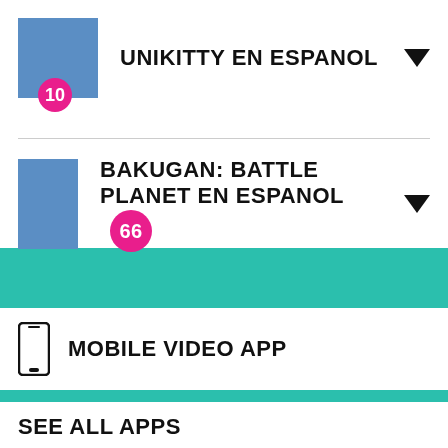UNIKITTY EN ESPANOL 10
BAKUGAN: BATTLE PLANET EN ESPANOL 66
MOBILE VIDEO APP
SEE ALL APPS